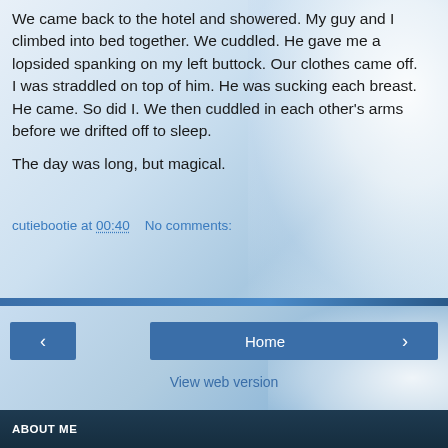We came back to the hotel and showered. My guy and I climbed into bed together. We cuddled. He gave me a lopsided spanking on my left buttock. Our clothes came off. I was straddled on top of him. He was sucking each breast. He came. So did I. We then cuddled in each other's arms before we drifted off to sleep.
The day was long, but magical.
cutiebootie at 00:40    No comments:
Share
< Home >
View web version
ABOUT ME
[Figure (photo): Black underwear with text 'HANKY SPANKY' in pink letters]
cutiebootie
Toronto, Ontario, Canada
View my complete profile